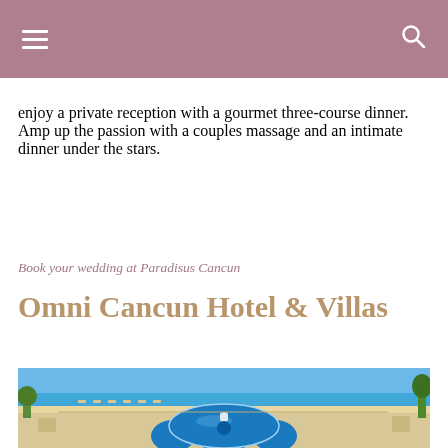≡  🔍
enjoy a private reception with a gourmet three-course dinner. Amp up the passion with a couples massage and an intimate dinner under the stars.
Book your wedding at Paradisus Cancun
Omni Cancun Hotel & Villas
[Figure (photo): Outdoor pool area with a distinctive flower-shaped pool/jacuzzi in the foreground, lounge chairs, turquoise ocean, and blue sky in the background at the Omni Cancun Hotel & Villas.]